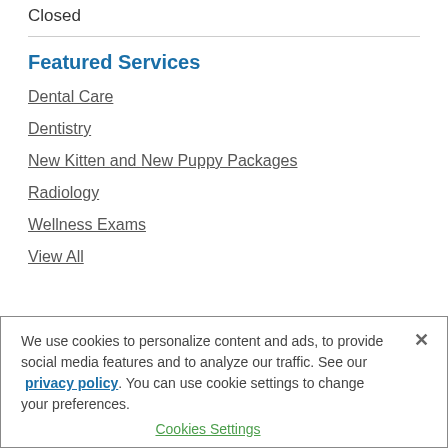Closed
Featured Services
Dental Care
Dentistry
New Kitten and New Puppy Packages
Radiology
Wellness Exams
View All
We use cookies to personalize content and ads, to provide social media features and to analyze our traffic. See our privacy policy. You can use cookie settings to change your preferences.
Cookies Settings